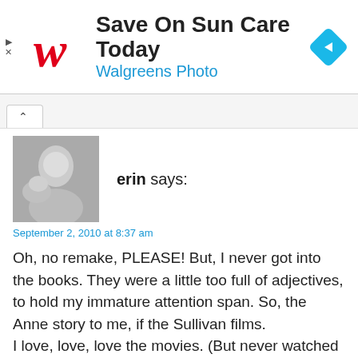[Figure (other): Walgreens advertisement banner with logo, text 'Save On Sun Care Today' and 'Walgreens Photo', and a navigation arrow icon]
erin says:
September 2, 2010 at 8:37 am
Oh, no remake, PLEASE! But, I never got into the books. They were a little too full of adjectives, to hold my immature attention span. So, the Anne story to me, if the Sullivan films.
I love, love, love the movies. (But never watched the continuing story... I heard it was bad before I got a chance to see it.)
I think I tried to emulate Anne a bit too much as a girl.